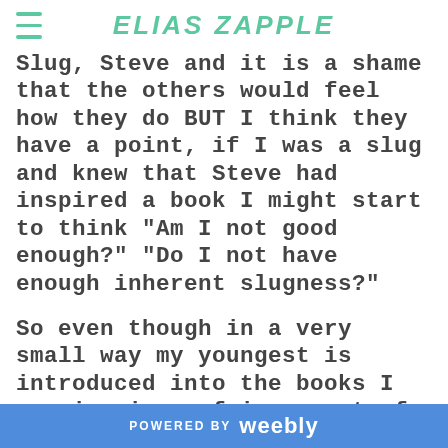ELIAS ZAPPLE
Slug, Steve and it is a shame that the others would feel how they do BUT I think they have a point, if I was a slug and knew that Steve had inspired a book I might start to think "Am I not good enough?" "Do I not have enough inherent slugness?"
So even though in a very small way my youngest is introduced into the books I can imagine a fair amount of sibling rivalry as the years
POWERED BY weebly